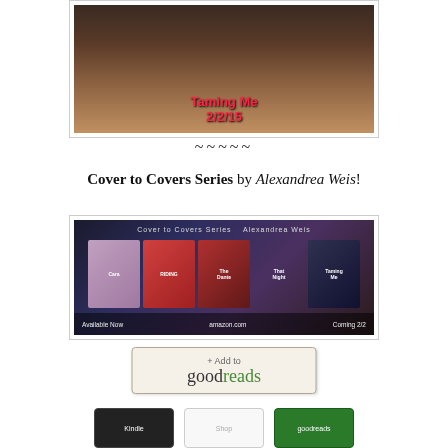[Figure (photo): Book cover image for 'Taming Me' releasing 2/2/15, showing text overlay on dark background with two figures]
~~~~~
Cover to Covers Series by Alexandrea Weis!
[Figure (photo): Banner image for Cover to Covers Series by Alexandrea Weis showing five book covers with 'Available Now' and 'Coming 2/2' text]
[Figure (logo): + Add to goodreads button]
[Figure (logo): Three social/retailer icon buttons at bottom]